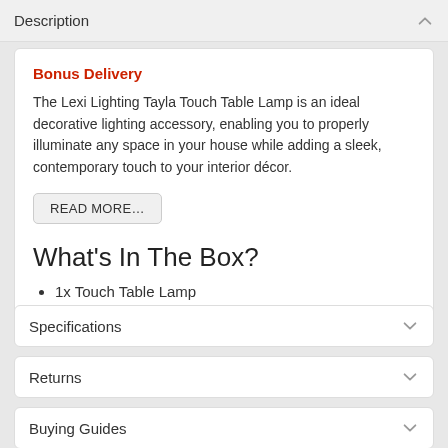Description
Bonus Delivery
The Lexi Lighting Tayla Touch Table Lamp is an ideal decorative lighting accessory, enabling you to properly illuminate any space in your house while adding a sleek, contemporary touch to your interior décor.
READ MORE...
What's In The Box?
1x Touch Table Lamp
Specifications
Returns
Buying Guides